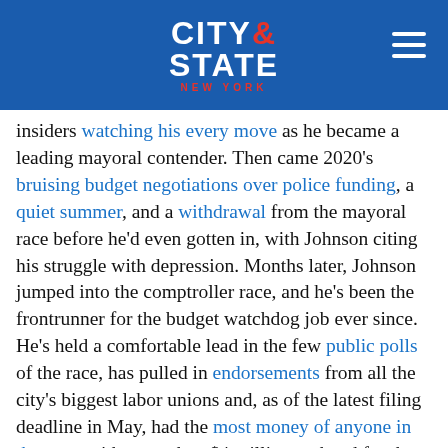[Figure (logo): City & State New York logo on blue header bar with hamburger menu icon on the right]
insiders watching his every move as he became a leading mayoral contender. Then came 2020's bruising budget negotiations over police funding, a quiet summer, and a withdrawal from the mayoral race before he'd even gotten in, with Johnson citing his struggle with depression. Months later, Johnson jumped into the comptroller race, and he's been the frontrunner for the budget watchdog job ever since. He's held a comfortable lead in the few public polls of the race, has pulled in endorsements from all the city's biggest labor unions and, as of the latest filing deadline in May, had the most money of anyone in the race, with more than $4 million on hand for the final month.
That position earned him withering attacks in the